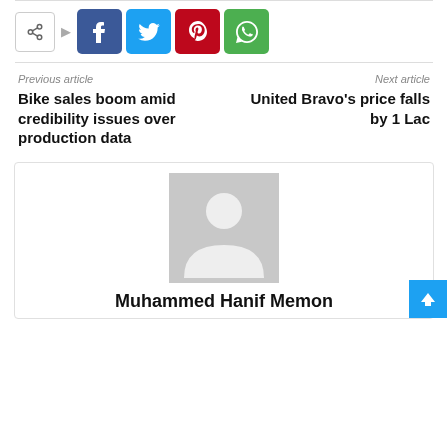[Figure (infographic): Social share bar with share icon button and four colored social media buttons: Facebook (blue), Twitter (cyan), Pinterest (red), WhatsApp (green)]
Previous article
Bike sales boom amid credibility issues over production data
Next article
United Bravo's price falls by 1 Lac
[Figure (photo): Default user avatar placeholder (grey silhouette of a person on grey background)]
Muhammed Hanif Memon